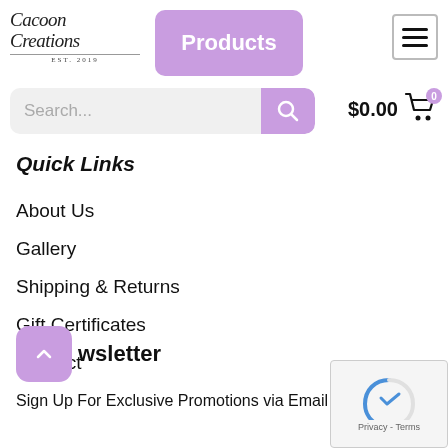[Figure (logo): Cacoon Creations cursive logo with 'EST. 2019' text below]
Products
[Figure (other): Hamburger menu icon (three horizontal lines) in a bordered square]
[Figure (other): Search bar with magnifying glass button and $0.00 cart icon with 0 badge]
Quick Links
About Us
Gallery
Shipping & Returns
Gift Certificates
Contact
Newsletter
Sign Up For Exclusive Promotions via Email
[Figure (other): reCAPTCHA widget with Privacy - Terms text]